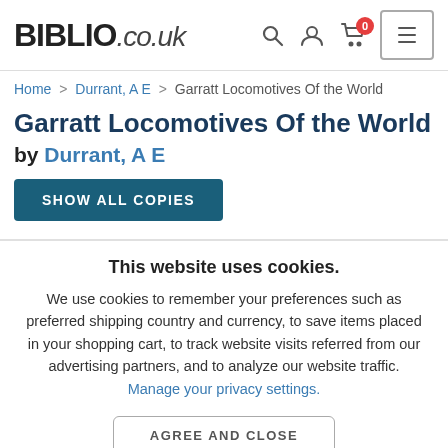BIBLIO.co.uk
Home > Durrant, A E > Garratt Locomotives Of the World
Garratt Locomotives Of the World by Durrant, A E
SHOW ALL COPIES
This website uses cookies.
We use cookies to remember your preferences such as preferred shipping country and currency, to save items placed in your shopping cart, to track website visits referred from our advertising partners, and to analyze our website traffic. Manage your privacy settings.
AGREE AND CLOSE